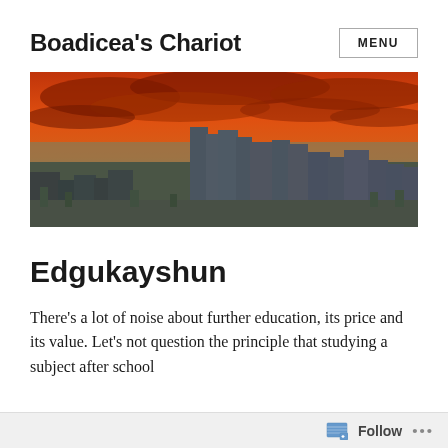Boadicea's Chariot
[Figure (photo): Wide panoramic cityscape photo with dramatic orange-red cloudy sky over a city skyline with tall buildings, HDR-style photography]
Edgukayshun
There's a lot of noise about further education, its price and its value. Let's not question the principle that studying a subject after school
Follow ...